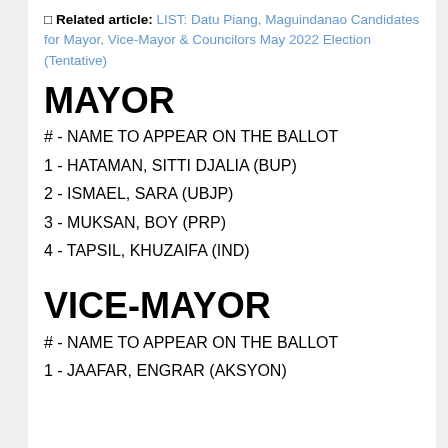🔲 Related article: LIST: Datu Piang, Maguindanao Candidates for Mayor, Vice-Mayor & Councilors May 2022 Election (Tentative)
MAYOR
# - NAME TO APPEAR ON THE BALLOT
1 - HATAMAN, SITTI DJALIA (BUP)
2 - ISMAEL, SARA (UBJP)
3 - MUKSAN, BOY (PRP)
4 - TAPSIL, KHUZAIFA (IND)
VICE-MAYOR
# - NAME TO APPEAR ON THE BALLOT
1 - JAAFAR, ENGRAR (AKSYON)